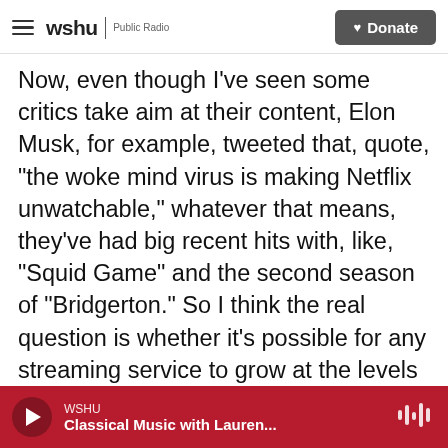wshu | Public Radio  [Donate button]
Now, even though I've seen some critics take aim at their content, Elon Musk, for example, tweeted that, quote, "the woke mind virus is making Netflix unwatchable," whatever that means, they've had big recent hits with, like, "Squid Game" and the second season of "Bridgerton." So I think the real question is whether it's possible for any streaming service to grow at the levels necessary to satisfy Wall Street investors. And that's an answer we're probably going to see later this year.
ESTRIN: NPR's Eric Deggans. Thanks.
DEGGANS: Thank you. Transcript provided by NPR
WSHU | Classical Music with Lauren...